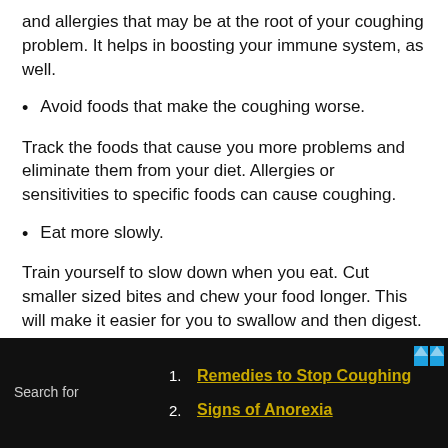and allergies that may be at the root of your coughing problem. It helps in boosting your immune system, as well.
Avoid foods that make the coughing worse.
Track the foods that cause you more problems and eliminate them from your diet. Allergies or sensitivities to specific foods can cause coughing.
Eat more slowly.
Train yourself to slow down when you eat. Cut smaller sized bites and chew your food longer. This will make it easier for you to swallow and then digest. Taking small sips of water between bites will help, as well.
Search for
Remedies to Stop Coughing
Signs of Anorexia